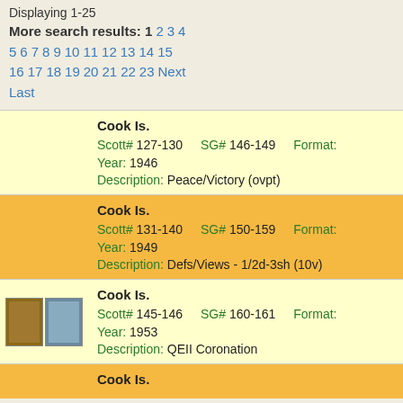Displaying 1-25
More search results: 1 2 3 4 5 6 7 8 9 10 11 12 13 14 15 16 17 18 19 20 21 22 23 Next Last
Cook Is. Scott# 127-130 SG# 146-149 Format: Year: 1946 Description: Peace/Victory (ovpt)
Cook Is. Scott# 131-140 SG# 150-159 Format: Year: 1949 Description: Defs/Views - 1/2d-3sh (10v)
Cook Is. Scott# 145-146 SG# 160-161 Format: Year: 1953 Description: QEII Coronation
Cook Is.